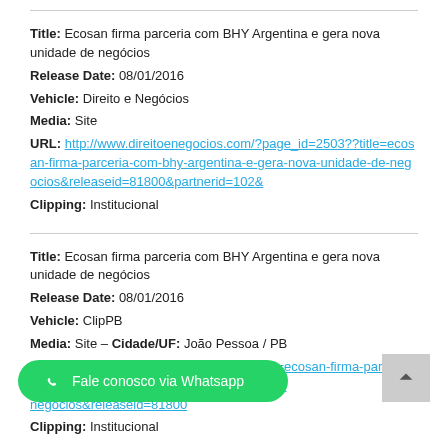Title: Ecosan firma parceria com BHY Argentina e gera nova unidade de negócios
Release Date: 08/01/2016
Vehicle: Direito e Negócios
Media: Site
URL: http://www.direitoenegocios.com/?page_id=2503??title=ecosan-firma-parceria-com-bhy-argentina-e-gera-nova-unidade-de-negocios&releaseid=81800&partnerid=102&
Clipping: Institucional
Title: Ecosan firma parceria com BHY Argentina e gera nova unidade de negócios
Release Date: 08/01/2016
Vehicle: ClipPB
Media: Site – Cidade/UF: João Pessoa / PB
URL: http://www.clippb.com/newsdino?title=ecosan-firma-parceria-com-bhy-argentina-e-gera-nova-unidade-de-negocios&releaseid=81800
Clipping: Institucional